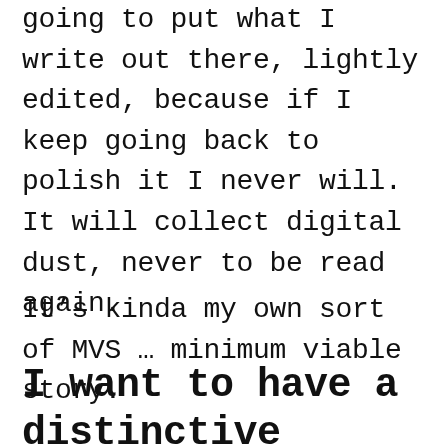going to put what I write out there, lightly edited, because if I keep going back to polish it I never will. It will collect digital dust, never to be read again.
It’s kinda my own sort of MVS … minimum viable story.
I want to have a distinctive style, and I